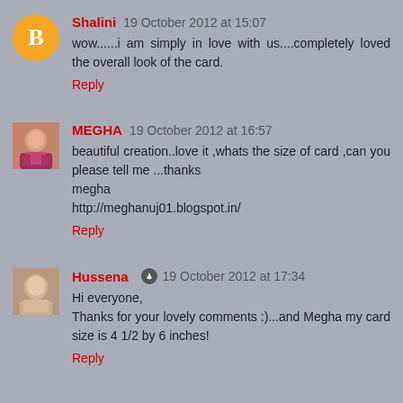Shalini 19 October 2012 at 15:07
wow......i am simply in love with us....completely loved the overall look of the card.
Reply
MEGHA 19 October 2012 at 16:57
beautiful creation..love it ,whats the size of card ,can you please tell me ...thanks
megha
http://meghanuj01.blogspot.in/
Reply
Hussena 19 October 2012 at 17:34
Hi everyone,
Thanks for your lovely comments :)...and Megha my card size is 4 1/2 by 6 inches!
Reply